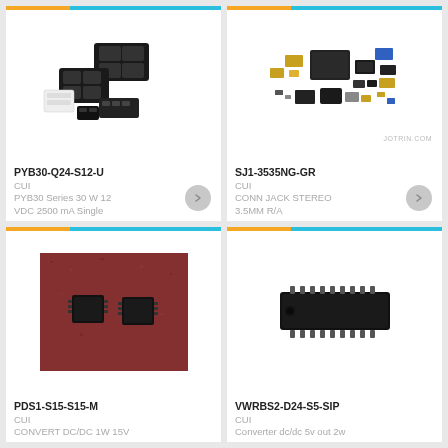[Figure (photo): Electronic power modules and connectors - PYB30-Q24-S12-U]
PYB30-Q24-S12-U
CUI
PYB30 Series 30 W 12 VDC 2500 mA Single
[Figure (photo): Various small electronic components spread on white background - SJ1-3535NG-GR]
SJ1-3535NG-GR
CUI
CONN JACK STEREO 3.5MM R/A
[Figure (photo): Two small black IC chips on red/brown surface - PDS1-S15-S15-M]
PDS1-S15-S15-M
CUI
CONVERT DC/DC 1W 15V
[Figure (photo): Black DIP IC chip on white background - VWRBS2-D24-S5-SIP]
VWRBS2-D24-S5-SIP
CUI
Converter dc/dc 5v out 2w